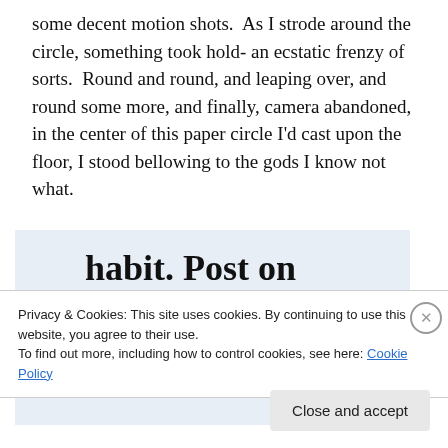some decent motion shots.  As I strode around the circle, something took hold- an ecstatic frenzy of sorts.  Round and round, and leaping over, and round some more, and finally, camera abandoned, in the center of this paper circle I'd cast upon the floor, I stood bellowing to the gods I know not what.
[Figure (screenshot): WordPress app advertisement with large bold text 'habit. Post on the go.' and a 'GET THE APP' call to action link, with WordPress logo circle icon on right, on a light blue background.]
Privacy & Cookies: This site uses cookies. By continuing to use this website, you agree to their use.
To find out more, including how to control cookies, see here: Cookie Policy
Close and accept